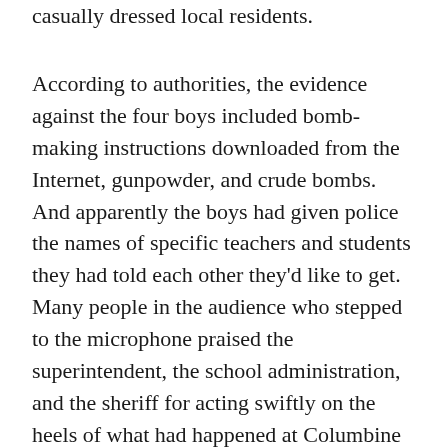casually dressed local residents.
According to authorities, the evidence against the four boys included bomb-making instructions downloaded from the Internet, gunpowder, and crude bombs. And apparently the boys had given police the names of specific teachers and students they had told each other they'd like to get. Many people in the audience who stepped to the microphone praised the superintendent, the school administration, and the sheriff for acting swiftly on the heels of what had happened at Columbine High School. Some called for remedies such as metal detectors, school uniforms, and prayer to ensure the students' safety. Numerous others wondered aloud how the boys, if they really did